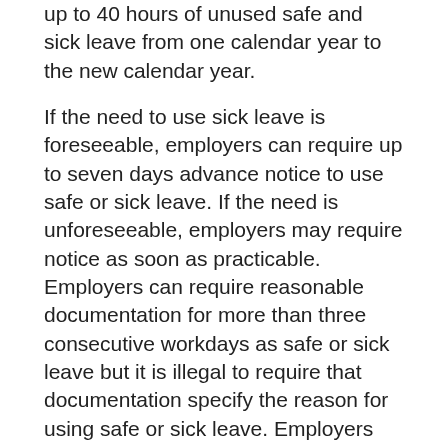up to 40 hours of unused safe and sick leave from one calendar year to the new calendar year.
If the need to use sick leave is foreseeable, employers can require up to seven days advance notice to use safe or sick leave. If the need is unforeseeable, employers may require notice as soon as practicable. Employers can require reasonable documentation for more than three consecutive workdays as safe or sick leave but it is illegal to require that documentation specify the reason for using safe or sick leave. Employers may not engage in or threaten retaliation against employees, which includes firing and any act that punishes an employee for or is likely to deter an employee from exercising his or her rights under the Law.
Employers and employees can visit nyc.gov/workers or call 311 (212-NEW-YORK outside NYC) for more information including the required Notice of Employee Rights, one-page overviews for employers and employees; FAQs; and the DCWP complaint form. DCWP also developed tools to help employers keep track of employees' leave and to check the benefit for their industry.